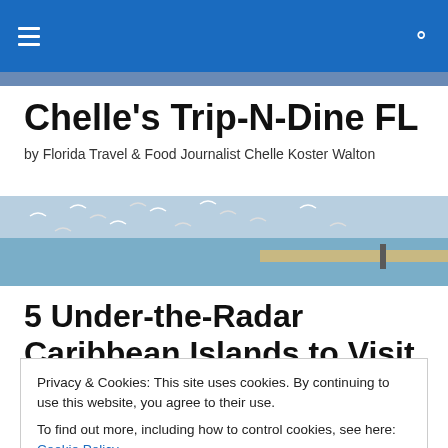[Navigation bar with hamburger menu and search icon]
Chelle's Trip-N-Dine FL
by Florida Travel & Food Journalist Chelle Koster Walton
[Figure (photo): Coastal scene with seagulls flying over water and a sandy beach in the background]
5 Under-the-Radar Caribbean Islands to Visit Now
Privacy & Cookies: This site uses cookies. By continuing to use this website, you agree to their use.
To find out more, including how to control cookies, see here: Cookie Policy
Close and accept